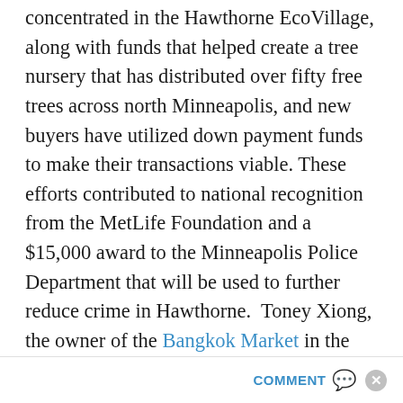concentrated in the Hawthorne EcoVillage, along with funds that helped create a tree nursery that has distributed over fifty free trees across north Minneapolis, and new buyers have utilized down payment funds to make their transactions viable. These efforts contributed to national recognition from the MetLife Foundation and a $15,000 award to the Minneapolis Police Department that will be used to further reduce crime in Hawthorne. Toney Xiong, the owner of the Bangkok Market in the EcoVillage, has said the lower crime rates and neighborhood development have stabilized his grocery and deli business in spite of a turbulent economy. As a result, he has made significant renovations and additions to
COMMENT